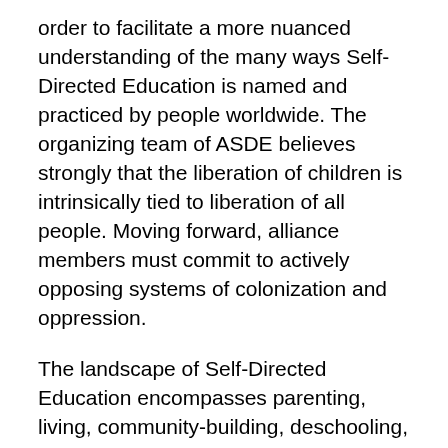order to facilitate a more nuanced understanding of the many ways Self-Directed Education is named and practiced by people worldwide. The organizing team of ASDE believes strongly that the liberation of children is intrinsically tied to liberation of all people. Moving forward, alliance members must commit to actively opposing systems of colonization and oppression.
The landscape of Self-Directed Education encompasses parenting, living, community-building, deschooling, decolonization, disruption – as practices toward youth liberation. When we say youth liberation, we are talking about the liberation of all young people. As young people take back their original freedom of self-direction, a commitment emerges not just to the abolition of coercive educational practices, but of all systems and ways of being that seek to